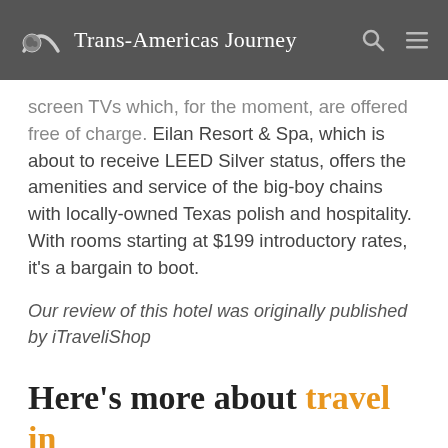Trans-Americas Journey
screen TVs which, for the moment, are offered free of charge. Eilan Resort & Spa, which is about to receive LEED Silver status, offers the amenities and service of the big-boy chains with locally-owned Texas polish and hospitality. With rooms starting at $199 introductory rates, it's a bargain to boot.
Our review of this hotel was originally published by iTraveliShop
Here's more about travel in the USA